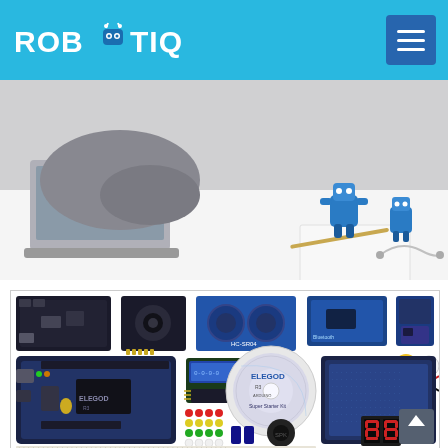ROBOTIQUE
[Figure (photo): Hero image showing a person lying on the floor working with a laptop and small blue humanoid robots on a white surface]
[Figure (photo): ELEGOD Arduino Super Starter Kit product photo showing Arduino board, sensors, modules, LEDs, breadboard, CD and electronic components spread out on white background]